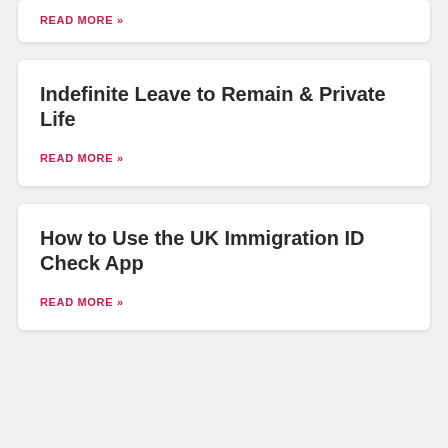READ MORE »
Indefinite Leave to Remain & Private Life
READ MORE »
How to Use the UK Immigration ID Check App
READ MORE »